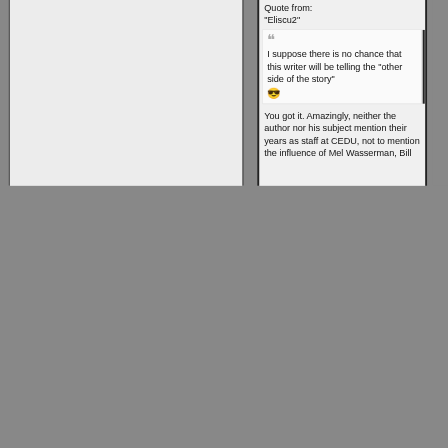Quote from: "Eliscu2"
I suppose there is no chance that this writer will be telling the "other side of the story" 😎
You got it. Amazingly, neither the author nor his subject mention their years as staff at CEDU, not to mention the influence of Mel Wasserman, Bill